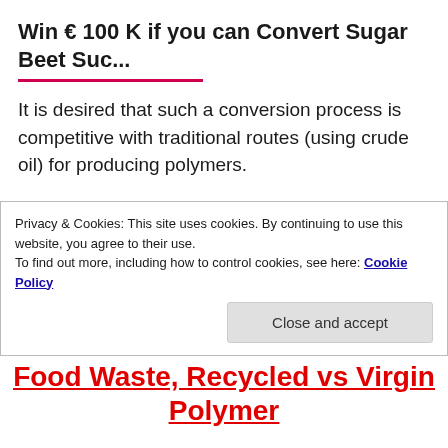Win € 100 K if you can Convert Sugar Beet Suc...
It is desired that such a conversion process is competitive with traditional routes (using crude oil) for producing polymers.
Also, additional benefits of using sucrose from European sugar beet as compared to glucose from starch will be a great advantage.
Privacy & Cookies: This site uses cookies. By continuing to use this website, you agree to their use.
To find out more, including how to control cookies, see here: Cookie Policy
Close and accept
Food Waste, Recycled vs Virgin Polymer